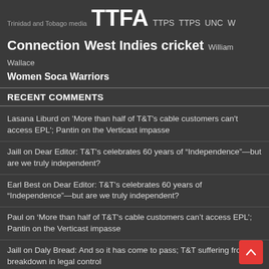Trinidad and Tobago media TTFA TTPS TTPS UNC W Connection West Indies cricket William Wallace Women Soca Warriors
RECENT COMMENTS
Lasana Liburd on 'More than half of T&T's cable customers can't access EPL'; Pantin on the Verticast impasse
Jaill on Dear Editor: T&T's celebrates 60 years of "Independence"—but are we truly independent?
Earl Best on Dear Editor: T&T's celebrates 60 years of "Independence"—but are we truly independent?
Paul on 'More than half of T&T's cable customers can't access EPL'; Pantin on the Verticast impasse
Jaill on Daly Bread: And so it has come to pass; T&T suffering from breakdown in legal control
Jaill on 'More than half of T&T's cable customers can't access EPL'; Pantin on the Verticast impasse